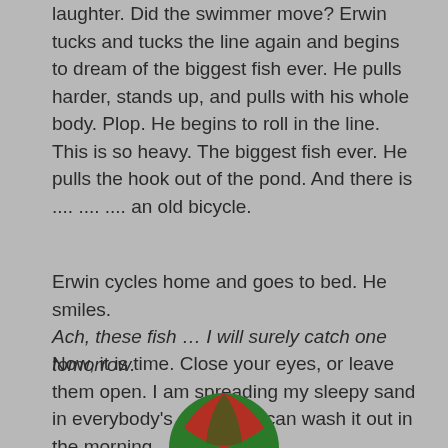laughter. Did the swimmer move? Erwin tucks and tucks the line again and begins to dream of the biggest fish ever. He pulls harder, stands up, and pulls with his whole body. Plop. He begins to roll in the line. This is so heavy. The biggest fish ever. He pulls the hook out of the pond. And there is .... .... .... an old bicycle.
Erwin cycles home and goes to bed. He smiles. Ach, these fish … I will surely catch one tomorrow.
Now, it is time. Close your eyes, or leave them open. I am spreading my sleepy sand in everybody's eyes. You can wash it out in the morning.
[Figure (illustration): Partial view of a round ball or sphere with red and green sections, visible at the bottom center of the page]